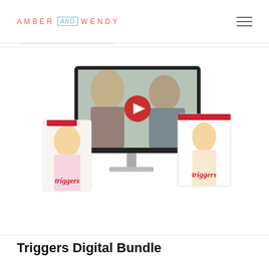AMBER AND WENDY
[Figure (photo): Product bundle image showing a desktop monitor with two women smiling (video thumbnail with YouTube play button), flanked by two book/guide covers titled 'Triggers' featuring a laughing blonde woman]
Triggers Digital Bundle